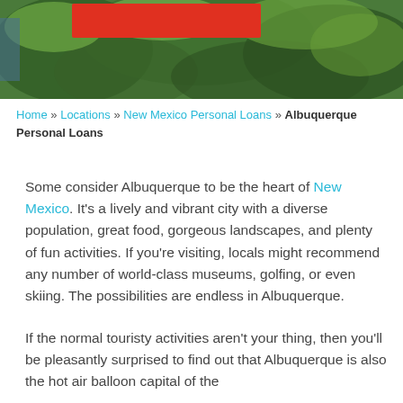[Figure (photo): Aerial photo of dense green treetops with a red banner overlay in the upper left corner, and a glimpse of water on the left edge.]
Home » Locations » New Mexico Personal Loans » Albuquerque Personal Loans
Some consider Albuquerque to be the heart of New Mexico. It's a lively and vibrant city with a diverse population, great food, gorgeous landscapes, and plenty of fun activities. If you're visiting, locals might recommend any number of world-class museums, golfing, or even skiing. The possibilities are endless in Albuquerque.
If the normal touristy activities aren't your thing, then you'll be pleasantly surprised to find out that Albuquerque is also the hot air balloon capital of the